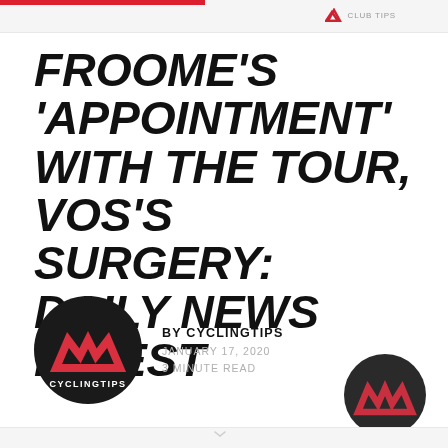CyclingTips header navigation
FROOME'S 'APPOINTMENT' WITH THE TOUR, VOS'S SURGERY: DAILY NEWS DIGEST
BY CYCLINGTIPS
JANUARY 17, 2020
3 MINUTE READ